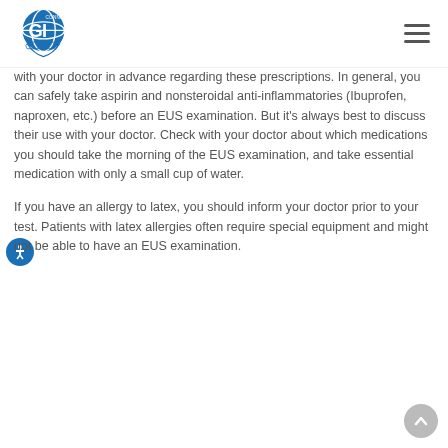Connecticut GI logo and navigation
with your doctor in advance regarding these prescriptions. In general, you can safely take aspirin and nonsteroidal anti-inflammatories (Ibuprofen, naproxen, etc.) before an EUS examination. But it’s always best to discuss their use with your doctor. Check with your doctor about which medications you should take the morning of the EUS examination, and take essential medication with only a small cup of water.
If you have an allergy to latex, you should inform your doctor prior to your test. Patients with latex allergies often require special equipment and might not be able to have an EUS examination.